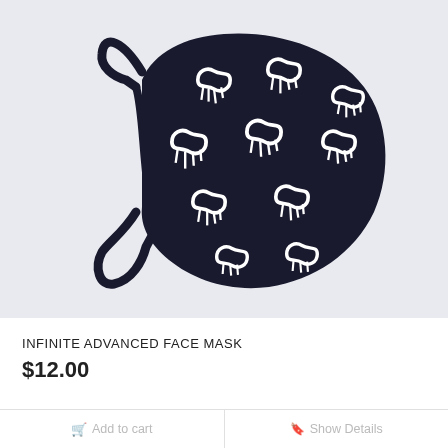[Figure (photo): Black face mask with white dripping infinity symbol pattern, with elastic ear loops, photographed against a light blue-grey background.]
INFINITE ADVANCED FACE MASK
$12.00
Add to cart   Show Details